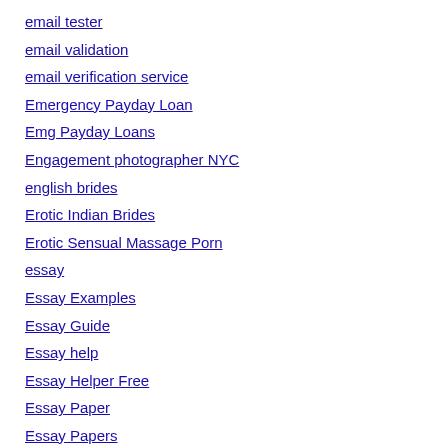email tester
email validation
email verification service
Emergency Payday Loan
Emg Payday Loans
Engagement photographer NYC
english brides
Erotic Indian Brides
Erotic Sensual Massage Porn
essay
Essay Examples
Essay Guide
Essay help
Essay Helper Free
Essay Paper
Essay Papers
essay review 3
Essay Samples
Essay Writer